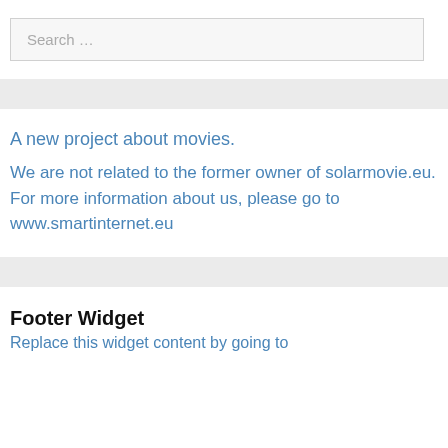Search …
A new project about movies.
We are not related to the former owner of solarmovie.eu. For more information about us, please go to www.smartinternet.eu
Footer Widget
Replace this widget content by going to